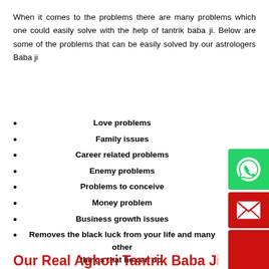When it comes to the problems there are many problems which one could easily solve with the help of tantrik baba ji. Below are some of the problems that can be easily solved by our astrologers Baba ji
Love problems
Family issues
Career related problems
Enemy problems
Problems to conceive
Money problem
Business growth issues
Removes the black luck from your life and many other things that he can do.
Our Real Aghori Tantrik Baba Ji In Ind